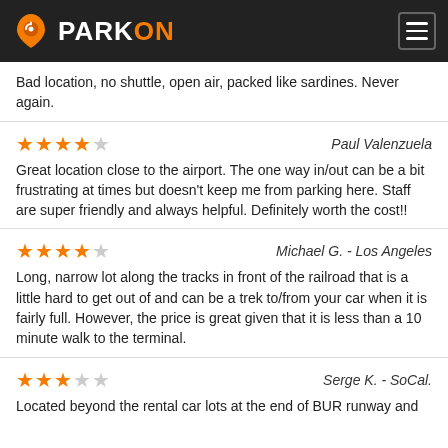PARKON
Bad location, no shuttle, open air, packed like sardines. Never again.
★★★★☆ Paul Valenzuela
Great location close to the airport. The one way in/out can be a bit frustrating at times but doesn't keep me from parking here. Staff are super friendly and always helpful. Definitely worth the cost!!
★★★★☆ Michael G. - Los Angeles
Long, narrow lot along the tracks in front of the railroad that is a little hard to get out of and can be a trek to/from your car when it is fairly full. However, the price is great given that it is less than a 10 minute walk to the terminal.
★★★☆☆ Serge K. - SoCal.
Located beyond the rental car lots at the end of BUR runway and